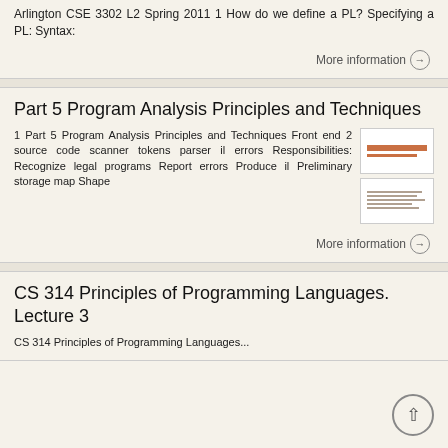Arlington CSE 3302 L2 Spring 2011 1 How do we define a PL? Specifying a PL: Syntax:
More information
Part 5 Program Analysis Principles and Techniques
1 Part 5 Program Analysis Principles and Techniques Front end 2 source code scanner tokens parser il errors Responsibilities: Recognize legal programs Report errors Produce il Preliminary storage map Shape
[Figure (illustration): Two small thumbnail images of slides]
More information
CS 314 Principles of Programming Languages. Lecture 3
CS 314 Principles of Programming Languages...